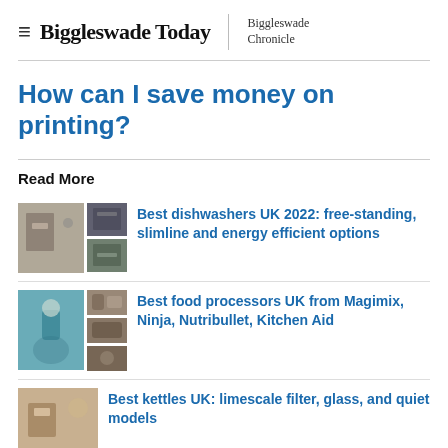Biggleswade Today | Biggleswade Chronicle
How can I save money on printing?
Read More
Best dishwashers UK 2022: free-standing, slimline and energy efficient options
Best food processors UK from Magimix, Ninja, Nutribullet, Kitchen Aid
Best kettles UK: limescale filter, glass, and quiet models